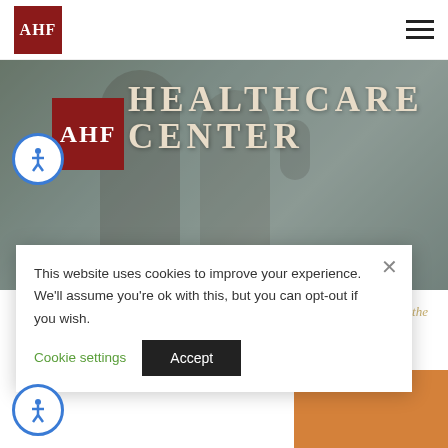AHF [logo] | hamburger menu
[Figure (photo): Two women in a medical setting — a healthcare provider and a patient looking at something together. Background shows medical equipment.]
AHF HEALTHCARE CENTER
Your Journey to Good Health Starts Here
This website uses cookies to improve your experience. We'll assume you're ok with this, but you can opt-out if you wish.
Cookie settings   Accept